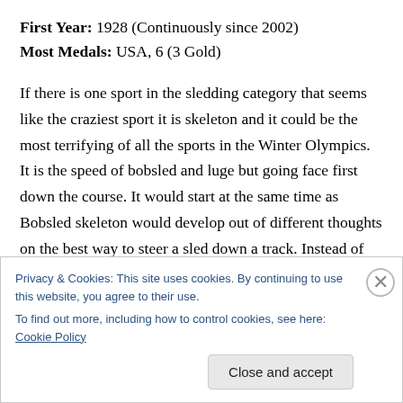First Year: 1928 (Continuously since 2002)
Most Medals: USA, 6 (3 Gold)
If there is one sport in the sledding category that seems like the craziest sport it is skeleton and it could be the most terrifying of all the sports in the Winter Olympics. It is the speed of bobsled and luge but going face first down the course. It would start at the same time as Bobsled skeleton would develop out of different thoughts on the best way to steer a sled down a track. Instead of sitting on a bigger sled with other team members to steer through
Privacy & Cookies: This site uses cookies. By continuing to use this website, you agree to their use.
To find out more, including how to control cookies, see here: Cookie Policy
Close and accept